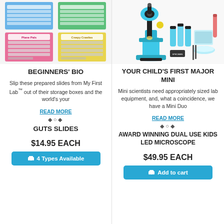[Figure (photo): Four biology slide packs from My First Lab: two slide packs on top (blue and green backgrounds), two labeled packs below - 'Plane Pals' on pink and 'Creepy Crawlies' on yellow, showing prepared microscope slides]
BEGINNERS' BIO
Slip these prepared slides from My First Lab™ out of their storage boxes and the world's your
READ MORE
⬥○⬥
GUTS SLIDES
$14.95 EACH
🛒 4 Types Available
[Figure (photo): Teal/aqua children's microscope (Mini Duo) with accessories including specimen vials, slides tray, petri dish, tweezers, and test tube on white background]
YOUR CHILD'S FIRST MAJOR MINI
Mini scientists need appropriately sized lab equipment, and, what a coincidence, we have a Mini Duo
READ MORE
⬥○⬥
AWARD WINNING DUAL USE KIDS LED MICROSCOPE
$49.95 EACH
🛒 Add to cart